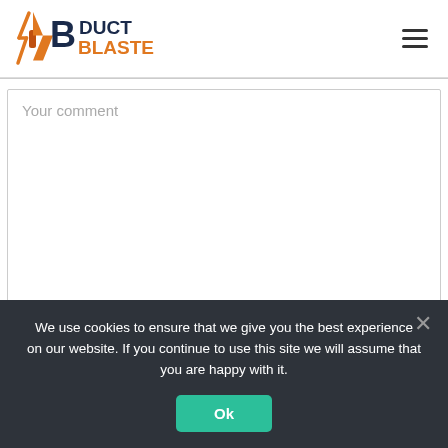[Figure (logo): Duct Blasters logo with lightning bolt and stylized B, orange and dark blue text]
Your comment
We use cookies to ensure that we give you the best experience on our website. If you continue to use this site we will assume that you are happy with it.
Ok